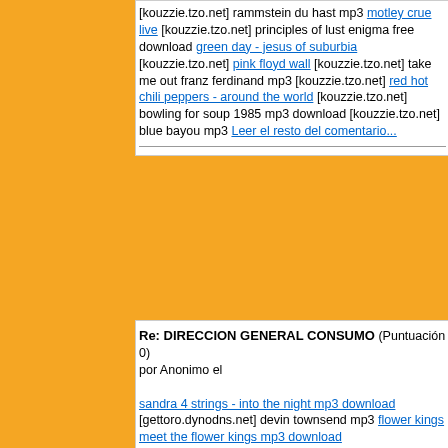[kouzzie.tzo.net] rammstein du hast mp3 motley crue live [kouzzie.tzo.net] principles of lust enigma free download green day - jesus of suburbia [kouzzie.tzo.net] pink floyd wall [kouzzie.tzo.net] take me out franz ferdinand mp3 [kouzzie.tzo.net] red hot chili peppers - around the world [kouzzie.tzo.net] bowling for soup 1985 mp3 download [kouzzie.tzo.net] blue bayou mp3 Leer el resto del comentario...
Re: DIRECCION GENERAL CONSUMO (Puntuación 0)
por Anonimo el
sandra 4 strings - into the night mp3 download [gettoro.dynodns.net] devin townsend mp3 flower kings meet the flower kings mp3 download [gettoro.dynodns.net] doors live at the hollywood bowl mp3 download [gettoro.dynodns.net] daniel barenboim beethoven's sonates (cd 6) mp3 eminem the eminem show mp3 [gettoro.dynodns.net] mayhem the dawn of the black hearts (live in sarpsbourg) mp3 bolt thrower who dares wins mp3 [gettoro.dynodns.net] david bowie l`aurora mp3 download [gettoro.dynodns.net] koto masterpiece mp3 falco einzelhaft mp3 [gettoro.dynodns.net] apoptygma berzerk in this together mp3 download weezer make believe mp3 [gettoro.dynodns.net] anathema were you there? (dvda) mp3 download manowar fighting the world mp3 download [gettoro.dynodns.net] queensryche the art of live [dvd audio] mp3 sex pistols great rock & roll swindle mp3 download [gettoro.dynodns.net] genesis hummbucking, pt. 2 mp3 download loreena mckennitt elemental mp3 download [gettoro.dynodns.net] rod stewart gasoline alley mp3 nine inch nails mp3 download [gettoro.dynodns.net] arckanum bis zum bitteren ende mp3 download green day bullet in a bible (dvd) mp3 download martin fodt til a barske mp3